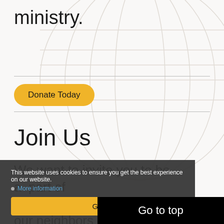ministry.
Donate Today
Join Us
We want to invite you to be a part of this, joining us in loving our neighbors and creating pathways out of poverty through Jesus within these
This website uses cookies to ensure you get the best experience on our website. • More information
Got It!
Go to top